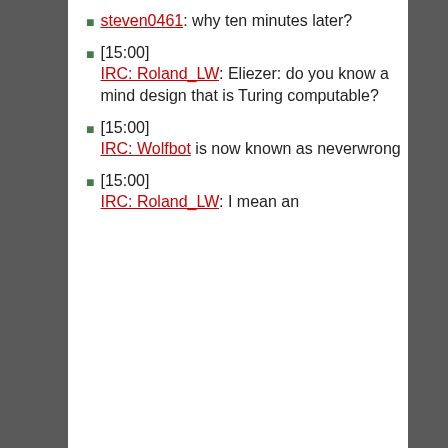steven0461: why ten minutes later?
[15:00] IRC: Roland_LW: Eliezer: do you know a mind design that is Turing computable?
[15:00] IRC: Wolfbot is now known as neverwrong
[15:00] IRC: Roland_LW: I mean an